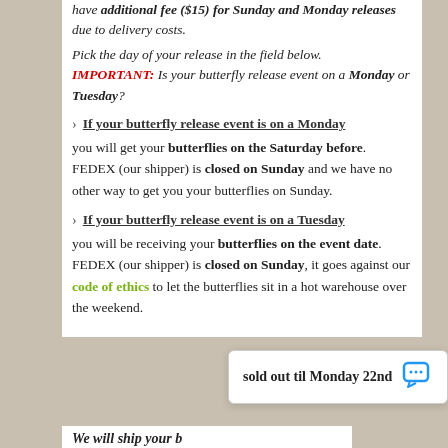have additional fee ($15) for Sunday and Monday releases due to delivery costs.
Pick the day of your release in the field below. IMPORTANT: Is your butterfly release event on a Monday or Tuesday?
If your butterfly release event is on a Monday
you will get your butterflies on the Saturday before. FEDEX (our shipper) is closed on Sunday and we have no other way to get you your butterflies on Sunday.
If your butterfly release event is on a Tuesday
you will be receiving your butterflies on the event date. FEDEX (our shipper) is closed on Sunday, it goes against our code of ethics to let the butterflies sit in a hot warehouse over the weekend.
sold out til Monday 22nd
We will ship your b